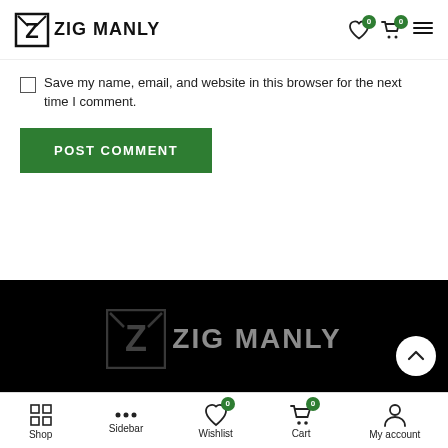ZIG MANLY
Save my name, email, and website in this browser for the next time I comment.
POST COMMENT
[Figure (logo): Zig Manly logo watermark on dark background]
OUR PRODUCTS
Shop | Sidebar | Wishlist | Cart | My account